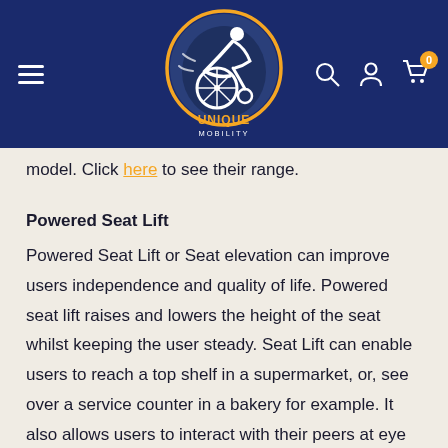[Figure (logo): Unique Mobility logo — circular emblem with a stylized wheelchair user in motion on a dark blue/grey background with gold ring, text 'UNIQUE MOBILITY' below in gold]
model. Click here to see their range.
Powered Seat Lift
Powered Seat Lift or Seat elevation can improve users independence and quality of life. Powered seat lift raises and lowers the height of the seat whilst keeping the user steady. Seat Lift can enable users to reach a top shelf in a supermarket, or, see over a service counter in a bakery for example. It also allows users to interact with their peers at eye level which can improve users' social skill and self